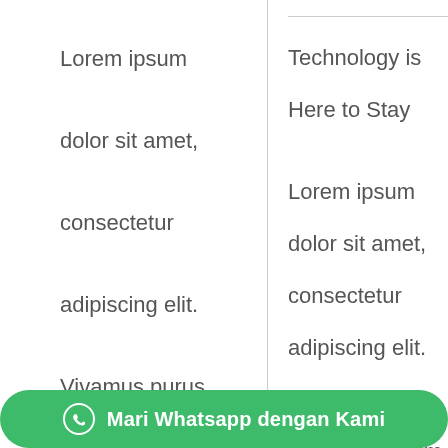Lorem ipsum dolor sit amet, consectetur adipiscing elit. Vivamus purus nisl, elementum vitae consequat at, tristique ut enim. Sed ut dignissim leo. Nullam sed metus id faucibus rhoncus
Technology is Here to Stay
Lorem ipsum dolor sit amet, consectetur adipiscing elit. Vivamus purus nisl, elementum vitae consequat at, tristique ut dignissim leo.
[Figure (screenshot): WhatsApp contact button overlay: green pill-shaped button with WhatsApp icon and text 'Mari Whatsapp dengan Kami']